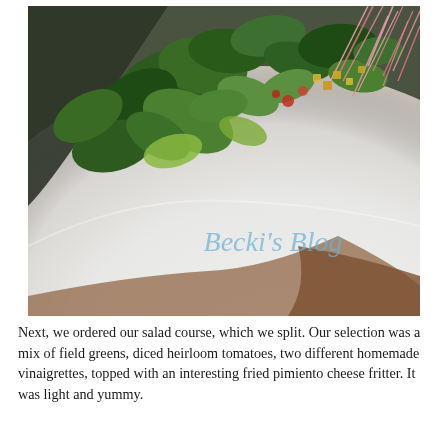[Figure (photo): Close-up photo of a salad on a large white plate. The salad contains mixed field greens, dark leafy greens, pink/red shredded radish or beet sprouts, diced yellow and red heirloom tomatoes, and other colorful toppings. The white plate fills the lower portion of the image. A watermark in light blue cursive script reads 'Becki's Blog' in the lower right area of the plate.]
Next, we ordered our salad course, which we split. Our selection was a mix of field greens, diced heirloom tomatoes, two different homemade vinaigrettes, topped with an interesting fried pimiento cheese fritter. It was light and yummy.